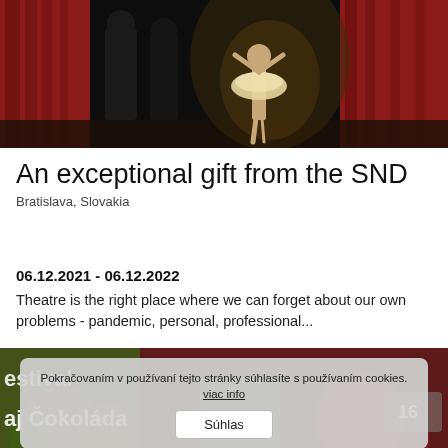[Figure (photo): Ballet performance on stage with red curtains. A ballerina in white tutu stands on pointe while two other performers in dark costumes stand nearby. Stage is dark with spotlight.]
An exceptional gift from the SND
Bratislava, Slovakia
06.12.2021 - 06.12.2022
Theatre is the right place where we can forget about our own problems - pandemic, personal, professional...
[Figure (photo): Decorative image with festive/chocolate theme text: 'estivalu', 'aj Čokoláda' visible. Dark red and green background with circular decorative elements. Cookie consent overlay visible.]
Pokračovaním v používaní tejto stránky súhlasíte s používaním cookies. viac info   Súhlas